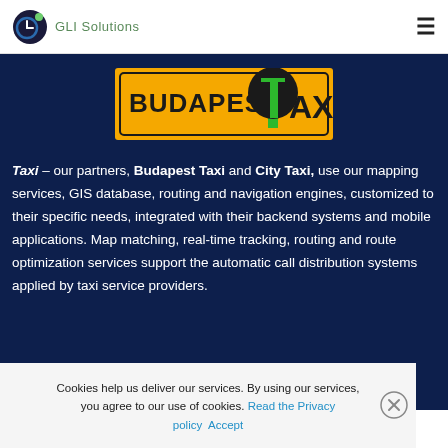GLI Solutions
[Figure (logo): Budapest Taxi logo — yellow background with black bold text 'BUDAPEST AXI' and a large green T letter, in a rectangular sign format]
Taxi – our partners, Budapest Taxi and City Taxi, use our mapping services, GIS database, routing and navigation engines, customized to their specific needs, integrated with their backend systems and mobile applications. Map matching, real-time tracking, routing and route optimization services support the automatic call distribution systems applied by taxi service providers.
Cookies help us deliver our services. By using our services, you agree to our use of cookies. Read the Privacy policy  Accept